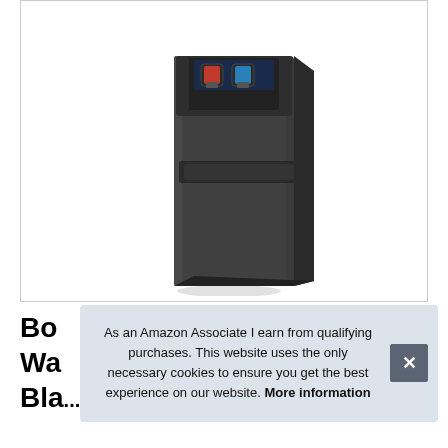[Figure (photo): A tall, slim black bottom-loading water cooler/dispenser with two push dispenser levers (one red, one blue) at the top and a cup holder platform mid-section, shown on a white background.]
Bo
Wa
Bla...
As an Amazon Associate I earn from qualifying purchases. This website uses the only necessary cookies to ensure you get the best experience on our website. More information